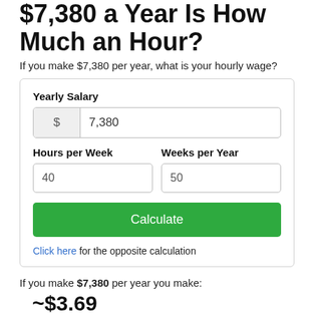$7,380 a Year Is How Much an Hour?
If you make $7,380 per year, what is your hourly wage?
[Figure (other): Salary calculator widget with fields for Yearly Salary ($7,380), Hours per Week (40), Weeks per Year (50), a Calculate button, and a link for the opposite calculation.]
If you make $7,380 per year you make:
$3.69 an hour